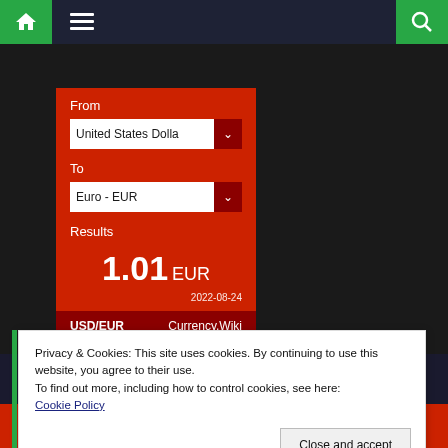[Figure (screenshot): Website navigation bar with home icon (green), hamburger menu icon, and search icon (green) on dark background]
[Figure (screenshot): Currency converter widget on red background showing From: United States Dollar, To: Euro - EUR, Results: 1.01 EUR, date 2022-08-24, footer USD/EUR Currency.Wiki]
Privacy & Cookies: This site uses cookies. By continuing to use this website, you agree to their use.
To find out more, including how to control cookies, see here:
Cookie Policy
Close and accept